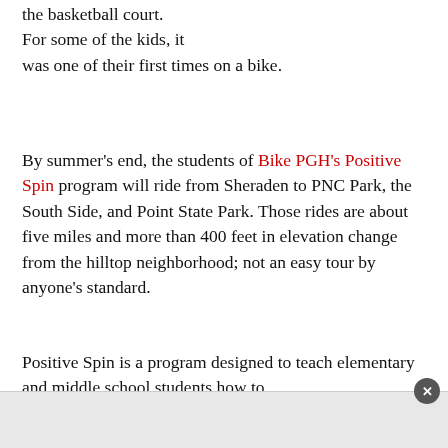the basketball court. For some of the kids, it was one of their first times on a bike.
By summer's end, the students of Bike PGH's Positive Spin program will ride from Sheraden to PNC Park, the South Side, and Point State Park. Those rides are about five miles and more than 400 feet in elevation change from the hilltop neighborhood; not an easy tour by anyone's standard.
Positive Spin is a program designed to teach elementary and middle school students how to